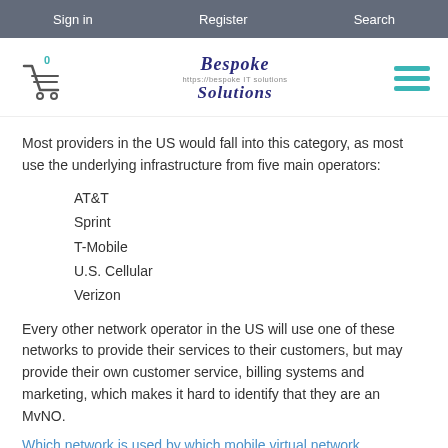Sign in   Register   Search
[Figure (logo): Shopping cart icon with badge '0', Bespoke IT Solutions logo in center, hamburger menu icon on right]
Most providers in the US would fall into this category, as most use the underlying infrastructure from five main operators:
AT&T
Sprint
T-Mobile
U.S. Cellular
Verizon
Every other network operator in the US will use one of these networks to provide their services to their customers, but may provide their own customer service, billing systems and marketing, which makes it hard to identify that they are an MvNO.
Which network is used by which mobile virtual network